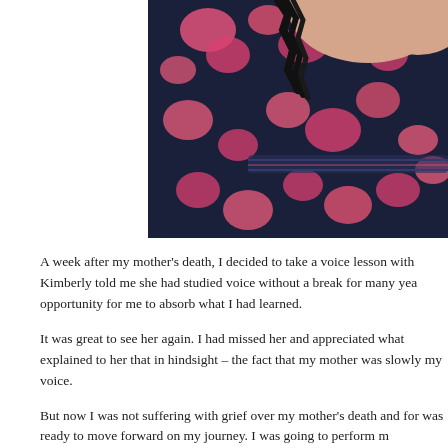[Figure (photo): Close-up photo of a person wearing a navy blue dress with pink floral print and black ruffle detail at the neckline. Only the chest/shoulder area is visible, with bare skin of the neck/chest area visible above the neckline.]
A week after my mother's death, I decided to take a voice lesson with Kimberly told me she had studied voice without a break for many yea opportunity for me to absorb what I had learned.
It was great to see her again. I had missed her and appreciated what explained to her that in hindsight – the fact that my mother was slowly my voice.
But now I was not suffering with grief over my mother's death and for was ready to move forward on my journey. I was going to perform m